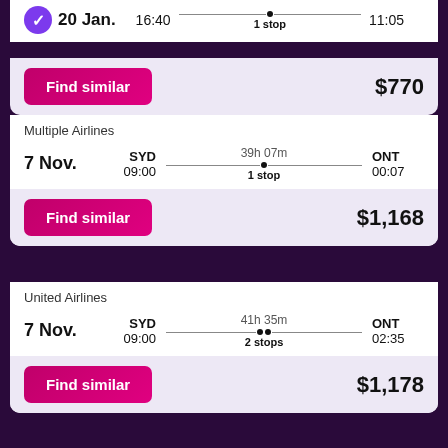20 Jan. 16:40 | 1 stop | 11:05
Find similar  $770
Multiple Airlines
7 Nov. SYD 09:00 | 39h 07m 1 stop | ONT 00:07
Find similar  $1,168
United Airlines
7 Nov. SYD 09:00 | 41h 35m 2 stops | ONT 02:35
Find similar  $1,178